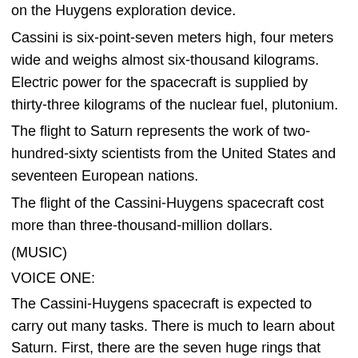on the Huygens exploration device.
Cassini is six-point-seven meters high, four meters wide and weighs almost six-thousand kilograms. Electric power for the spacecraft is supplied by thirty-three kilograms of the nuclear fuel, plutonium.
The flight to Saturn represents the work of two-hundred-sixty scientists from the United States and seventeen European nations.
The flight of the Cassini-Huygens spacecraft cost more than three-thousand-million dollars.
(MUSIC)
VOICE ONE:
The Cassini-Huygens spacecraft is expected to carry out many tasks. There is much to learn about Saturn. First, there are the seven huge rings that circle the planet. They are made of water ice, rock and dust.
Only minutes after it arrived in orbit, Cassini made sixty-one photographs of the beautiful rings. Cassini's radio sent the pictures to Earth. Radio signals travel at almost the speed of light. But even